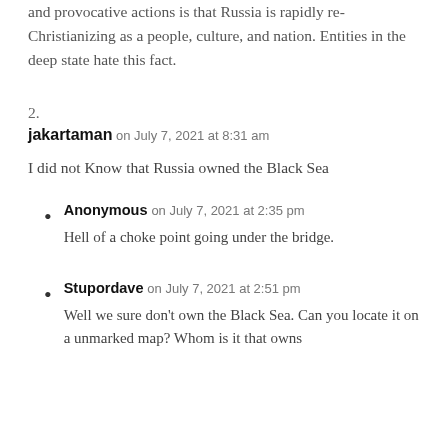and provocative actions is that Russia is rapidly re-Christianizing as a people, culture, and nation. Entities in the deep state hate this fact.
2.
jakartaman on July 7, 2021 at 8:31 am
I did not Know that Russia owned the Black Sea
Anonymous on July 7, 2021 at 2:35 pm
Hell of a choke point going under the bridge.
Stupordave on July 7, 2021 at 2:51 pm
Well we sure don't own the Black Sea. Can you locate it on a unmarked map? Whom is it that owns